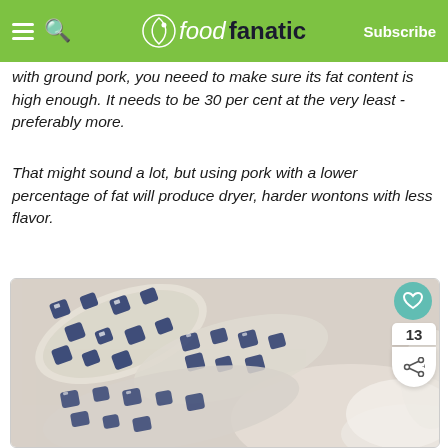foodfanatic — Subscribe
with ground pork, you neeed to make sure its fat content is high enough. It needs to be 30 per cent at the very least - preferably more.
That might sound a lot, but using pork with a lower percentage of fat will produce dryer, harder wontons with less flavor.
[Figure (photo): Close-up photo of wonton wrappers with blue and white Chinese character/pattern print, folded and arranged on a light surface]